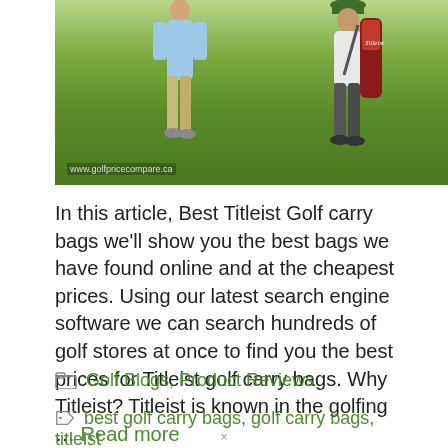[Figure (photo): Two golfers on a golf course, one in light blue shirt and khaki pants, the other a caddie carrying a Titleist golf bag. Green fairway background. Watermark: www.golfpricecompare.ca]
In this article, Best Titleist Golf carry bags we'll show you the best bags we have found online and at the cheapest prices. Using our latest search engine software we can search hundreds of golf stores at once to find you the best prices for Titleist golf carry bags. Why Titleist? Titleist is known in the golfing … Read more
Golf Blogs, Product Reviews
best golf carry bags, golf carry bags, titleist